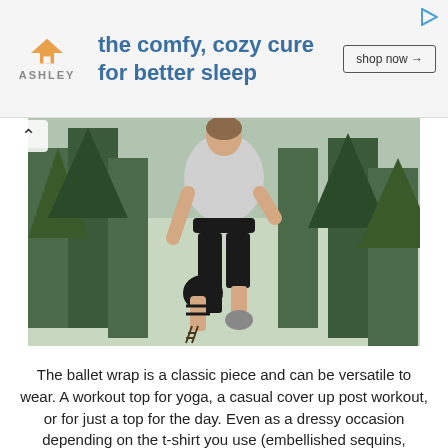[Figure (other): Ashley Furniture advertisement banner. Ashley logo (orange house icon + ASHLEY text) on left, blue bold text 'the comfy, cozy cure for better sleep' in center, 'shop now →' button on right, small play icon top-right corner.]
[Figure (photo): Woman in athletic wear (grey ballet wrap top, black capri leggings, lace-up sandals/sneakers) doing a yoga-style balance pose with one knee raised, outdoors among tall green pine trees.]
The ballet wrap is a classic piece and can be versatile to wear. A workout top for yoga, a casual cover up post workout, or for just a top for the day. Even as a dressy occasion depending on the t-shirt you use (embellished sequins, metallic knit, etc.) In this tutorial, how you how to sew this, along with